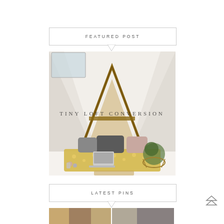FEATURED POST
[Figure (photo): Interior photo of a tiny loft conversion space with angled A-frame ceiling, wooden beams forming a triangle shape, a low couch/bed with yellow floral pattern fabric and grey and pink cushions, a laptop, plants in a wire basket, and a small wooden drawer unit at the bottom. Text overlay reads TINY LOFT CONVERSION.]
LATEST PINS
[Figure (photo): Two small thumbnail images at the bottom of the page, partially visible. Left thumbnail shows a warm-toned interior scene. Right thumbnail shows a darker interior.]